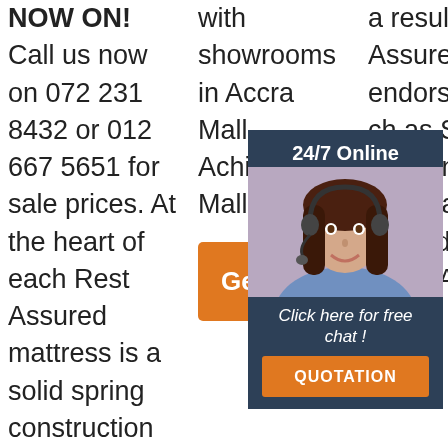NOW ON! Call us now on 072 231 8432 or 012 667 5651 for sale prices. At the heart of each Rest Assured mattress is a solid spring construction with exclusive technology for unmatched comfort and support. All Rest Assured
with showrooms in Accra Mall, Achimota Mall ...
[Figure (other): Orange 'Get Price' button]
a result Rest Assured beds are endorsed by the ch as So Al m m in th unit accepts the shape and push-down of the body. After all, the spring
[Figure (other): 24/7 Online chat widget with photo of woman wearing headset, 'Click here for free chat!' text, and QUOTATION button]